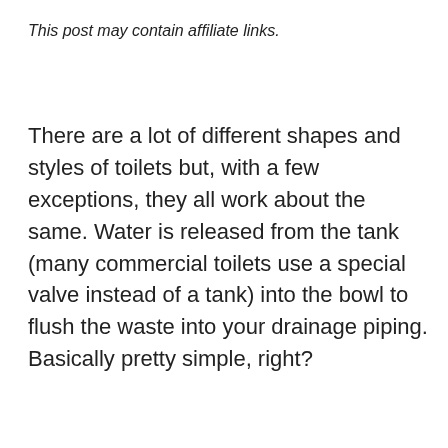This post may contain affiliate links.
There are a lot of different shapes and styles of toilets but, with a few exceptions, they all work about the same. Water is released from the tank (many commercial toilets use a special valve instead of a tank) into the bowl to flush the waste into your drainage piping. Basically pretty simple, right?